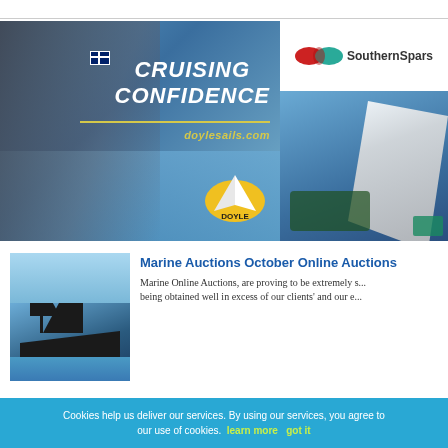[Figure (photo): Doyle Sails advertisement with sailboat, text 'CRUISING CONFIDENCE', doylesails.com, and Doyle logo]
[Figure (photo): Southern Spars advertisement with logo and aerial view of sailing yacht]
[Figure (photo): Black racing sailboat on water]
Marine Auctions October Online Auctions
Marine Online Auctions, are proving to be extremely s... being obtained well in excess of our clients' and our e...
Cookies help us deliver our services. By using our services, you agree to our use of cookies. learn more  got it